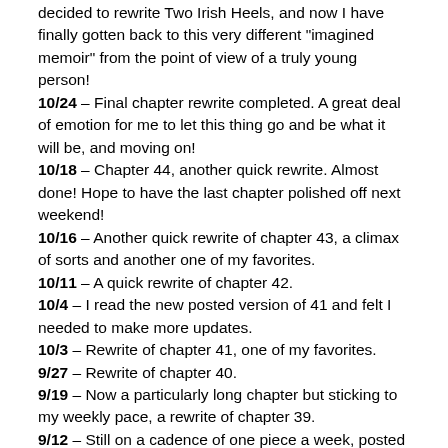decided to rewrite Two Irish Heels, and now I have finally gotten back to this very different "imagined memoir" from the point of view of a truly young person!
10/24 – Final chapter rewrite completed. A great deal of emotion for me to let this thing go and be what it will be, and moving on!
10/18 – Chapter 44, another quick rewrite. Almost done! Hope to have the last chapter polished off next weekend!
10/16 – Another quick rewrite of chapter 43, a climax of sorts and another one of my favorites.
10/11 – A quick rewrite of chapter 42.
10/4 – I read the new posted version of 41 and felt I needed to make more updates.
10/3 – Rewrite of chapter 41, one of my favorites.
9/27 – Rewrite of chapter 40.
9/19 – Now a particularly long chapter but sticking to my weekly pace, a rewrite of chapter 39.
9/12 – Still on a cadence of one piece a week, posted rewrite of chapter 38.
9/5 – On a role with these quicker rewrites, reworked several conversations and posted chapter 37.
8/30 – Another quick rewrite of chapter 36 despite expanding a